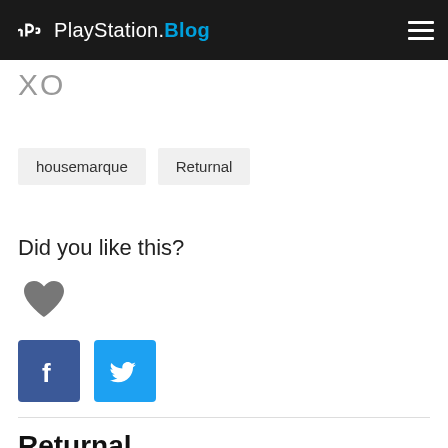PlayStation.Blog
XO
housemarque
Returnal
Did you like this?
[Figure (illustration): Heart/like icon in grey]
[Figure (logo): Facebook share button - blue square with white F logo]
[Figure (logo): Twitter share button - blue square with white bird logo]
Returnal